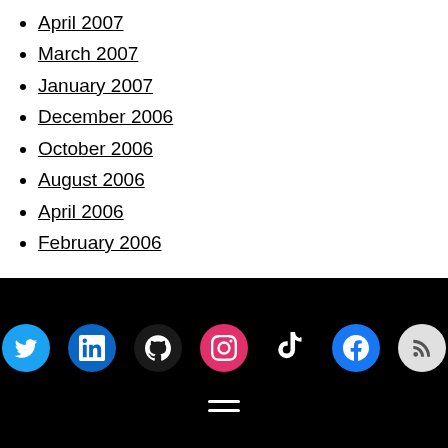April 2007
March 2007
January 2007
December 2006
October 2006
August 2006
April 2006
February 2006
Social media icons: Twitter, LinkedIn, GitHub, Instagram, TikTok, Facebook, RSS